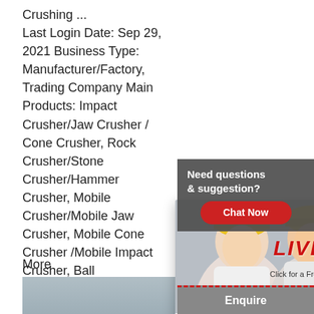Crushing ...
Last Login Date: Sep 29, 2021 Business Type: Manufacturer/Factory, Trading Company Main Products: Impact Crusher/Jaw Crusher / Cone Crusher, Rock Crusher/Stone Crusher/Hammer Crusher, Mobile Crusher/Mobile Jaw Crusher, Mobile Cone Crusher /Mobile Impact Crusher, Ball Mill/Raymond Mill/Hammer Mill, Vetical Mill/C... Separator/Sa...
More
[Figure (photo): Aerial view of mobile crushing machinery at a mining or quarry site, with blue equipment visible on rocky terrain]
hot selling mini mobile jaw crusher fo... Aug 30, 2021  hot selling small mobile ja... in usa. hot selling mobile stone crusher in...
[Figure (screenshot): Live Chat popup overlay with workers in yellow hard hats, LIVE CHAT text in red italic, 'Click for a Free Consultation' subtitle, and Chat now / Chat later buttons]
[Figure (photo): Right sidebar with red 'Hrs Online' banner and customer service representative wearing headset]
Need questions & suggestion?
Chat Now
Enquire